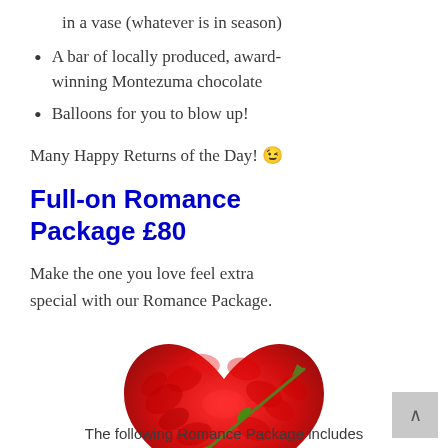in a vase (whatever is in season)
A bar of locally produced, award-winning Montezuma chocolate
Balloons for you to blow up!
Many Happy Returns of the Day! 😉
Full-on Romance Package £80
Make the one you love feel extra special with our Romance Package.
[Figure (photo): A heart shape made of red rose petals with an arrow (a rose stem with thorns) through it, symbolizing romance.]
The following Romance Package includes